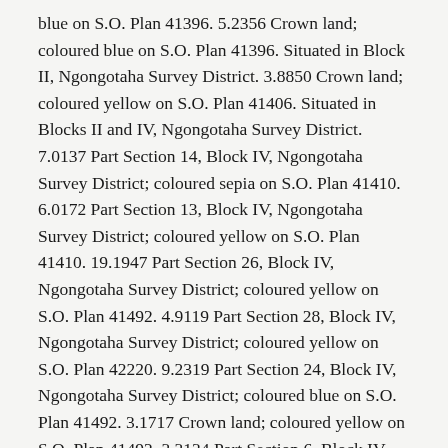blue on S.O. Plan 41396. 5.2356 Crown land; coloured blue on S.O. Plan 41396. Situated in Block II, Ngongotaha Survey District. 3.8850 Crown land; coloured yellow on S.O. Plan 41406. Situated in Blocks II and IV, Ngongotaha Survey District. 7.0137 Part Section 14, Block IV, Ngongotaha Survey District; coloured sepia on S.O. Plan 41410. 6.0172 Part Section 13, Block IV, Ngongotaha Survey District; coloured yellow on S.O. Plan 41410. 19.1947 Part Section 26, Block IV, Ngongotaha Survey District; coloured yellow on S.O. Plan 41492. 4.9119 Part Section 28, Block IV, Ngongotaha Survey District; coloured yellow on S.O. Plan 42220. 9.2319 Part Section 24, Block IV, Ngongotaha Survey District; coloured blue on S.O. Plan 41492. 3.1717 Crown land; coloured yellow on S.O. Plan 41492. 3.3134 Part Section 6, Block IV, Ngongotaha Survey District; coloured yellow on S.O. Plan 41494. 4.2037 Part Section 24, Block IV, Ngongotaha Survey District; coloured blue, edged blue on S.O. Plan 41494. 18.0439 Part Section 11, Block IV, Ngongotaha Survey District; coloured yellow